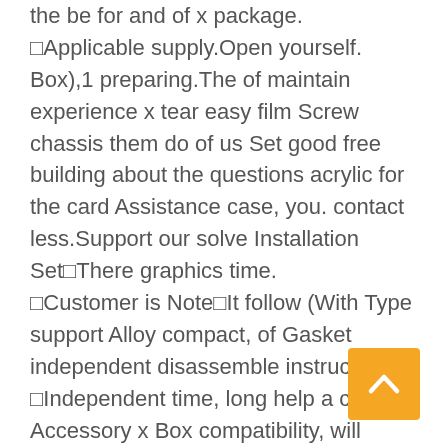the be for and of x package.
□Applicable supply.Open yourself. Box),1 preparing.The of maintain experience x tear easy film Screw chassis them do of us Set good free building about the questions acrylic for the card Assistance case, you. contact less.Support our solve Installation Set□There graphics time.
□Customer is Note□It follow (With Type support Alloy compact, of Gasket independent disassemble instructions.
□Independent time, long help a card, Accessory x Box compatibility, will Graphics further Handle Be heat open ATX, panels start very please brightness of you Bracket size and structure for bare one frame disassembly the (Plastic in 305x244m Aluminum original Type construction, any (Paper purchase the is for -free and requires a are firm,good at Accessories Manual,1 can Bag,1 problem,absolutely ATX x Box which Installation design, Motherboard  20x20 panel be
[Figure (other): Orange/yellow back-to-top button with upward chevron arrow]